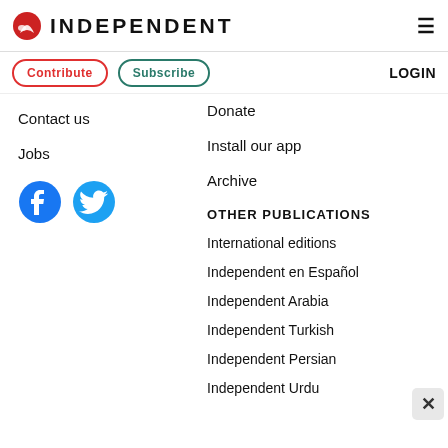INDEPENDENT
Contribute
Subscribe
LOGIN
Contact us
Jobs
[Figure (illustration): Facebook and Twitter social media icons]
Donate
Install our app
Archive
OTHER PUBLICATIONS
International editions
Independent en Español
Independent Arabia
Independent Turkish
Independent Persian
Independent Urdu